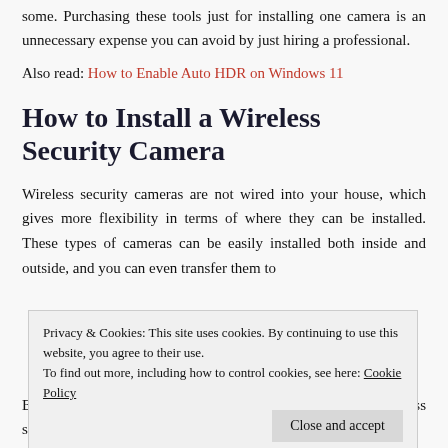some. Purchasing these tools just for installing one camera is an unnecessary expense you can avoid by just hiring a professional.
Also read: How to Enable Auto HDR on Windows 11
How to Install a Wireless Security Camera
Wireless security cameras are not wired into your house, which gives more flexibility in terms of where they can be installed. These types of cameras can be easily installed both inside and outside, and you can even transfer them to
Privacy & Cookies: This site uses cookies. By continuing to use this website, you agree to their use.
To find out more, including how to control cookies, see here: Cookie Policy
Close and accept
Below are steps you can follow if you want to install a wireless security camera.